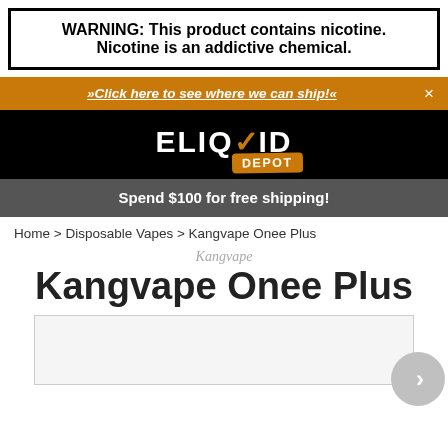WARNING: This product contains nicotine. Nicotine is an addictive chemical.
»Click here to see where we can ship!«
[Figure (logo): Eliquid Depot logo — white bold text 'ELIQUID' with orange checkmark and orange 'DEPOT' badge on black background]
Spend $100 for free shipping!
Home > Disposable Vapes > Kangvape Onee Plus
Kangvape
Kangvape Onee Plus